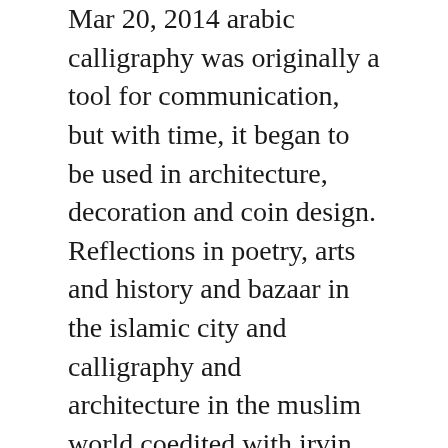Mar 20, 2014 arabic calligraphy was originally a tool for communication, but with time, it began to be used in architecture, decoration and coin design. Reflections in poetry, arts and history and bazaar in the islamic city and calligraphy and architecture in the muslim world coedited with irvin schick. An expert introduction to islamic art, from calligraphy, tiles. Arabic calligraphy taking a closer look smashing magazine. Calligraphy and architecture in the muslim world edinburgh. Dec 15, 2011 they often produced the elaborate and beautiful koranic